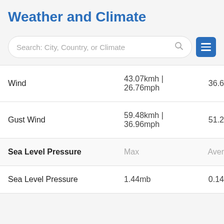Weather and Climate
Search: City, Country, or Climate
|  | Max | Aver |
| --- | --- | --- |
| Wind | 43.07kmh | 26.76mph | 36.6 |
| Gust Wind | 59.48kmh | 36.96mph | 51.2 |
| Sea Level Pressure | Max | Aver |
| Sea Level Pressure | 1.44mb | 0.14 |
June 2012 Graph